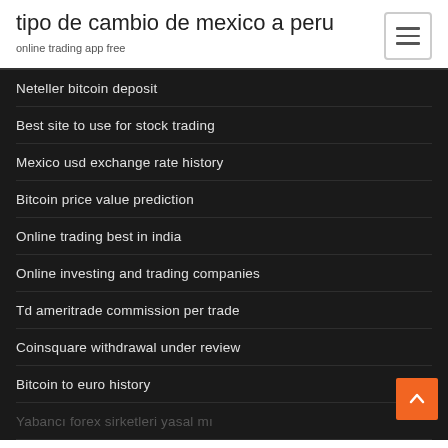tipo de cambio de mexico a peru
online trading app free
Neteller bitcoin deposit
Best site to use for stock trading
Mexico usd exchange rate history
Bitcoin price value prediction
Online trading best in india
Online investing and trading companies
Td ameritrade commission per trade
Coinsquare withdrawal under review
Bitcoin to euro history
Yabancı forex sirketleri yasal mı